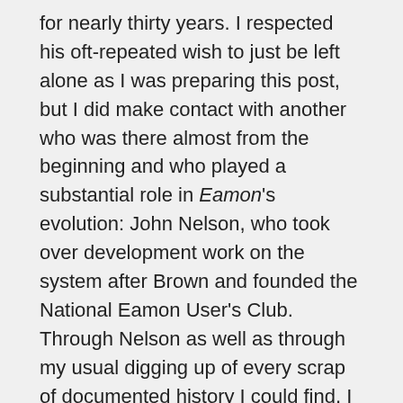for nearly thirty years. I respected his oft-repeated wish to just be left alone as I was preparing this post, but I did make contact with another who was there almost from the beginning and who played a substantial role in Eamon's evolution: John Nelson, who took over development work on the system after Brown and founded the National Eamon User's Club. Through Nelson as well as through my usual digging up of every scrap of documented history I could find, I was able to lift the fog of obscurity at least a little.
But before we get to that I should tell you what Eamon was and how it worked. Though there have been a handful of attempts to port it to other machines, Eamon had its most popular incarnation by far on the computer on which Brown first created it, the Apple II. The heart of the system was the "Master Diskette," containing a